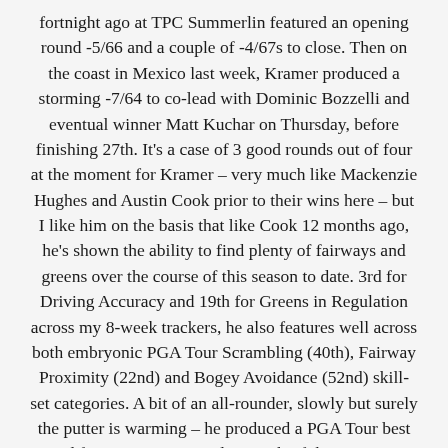fortnight ago at TPC Summerlin featured an opening round -5/66 and a couple of -4/67s to close. Then on the coast in Mexico last week, Kramer produced a storming -7/64 to co-lead with Dominic Bozzelli and eventual winner Matt Kuchar on Thursday, before finishing 27th. It's a case of 3 good rounds out of four at the moment for Kramer – very much like Mackenzie Hughes and Austin Cook prior to their wins here – but I like him on the basis that like Cook 12 months ago, he's shown the ability to find plenty of fairways and greens over the course of this season to date. 3rd for Driving Accuracy and 19th for Greens in Regulation across my 8-week trackers, he also features well across both embryonic PGA Tour Scrambling (40th), Fairway Proximity (22nd) and Bogey Avoidance (52nd) skill-set categories. A bit of an all-rounder, slowly but surely the putter is warming – he produced a PGA Tour best 32nd for Putting Average last week. If that continues this